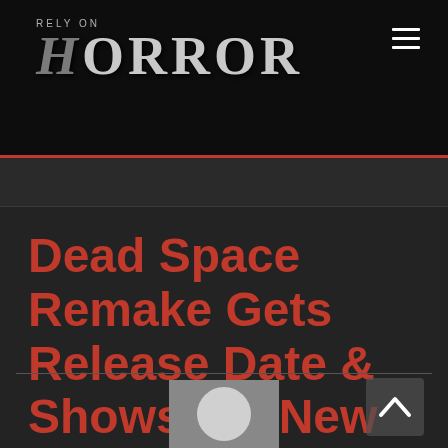RELY ON HORROR
Dead Space Remake Gets Release Date & Shows Off New Concept Art